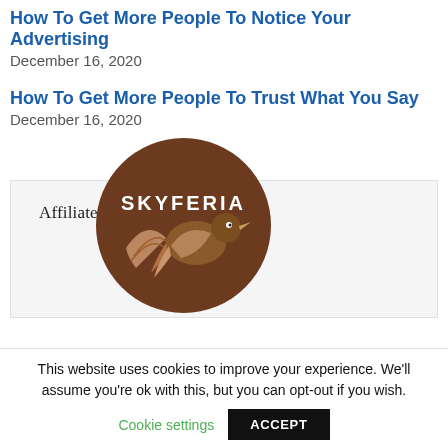How To Get More People To Notice Your Advertising
December 16, 2020
How To Get More People To Trust What You Say
December 16, 2020
Affiliate of Skyferia
[Figure (logo): Skyferia logo — circular brown badge with the word SKYFERIA and a bird/wing illustration]
This website uses cookies to improve your experience. We'll assume you're ok with this, but you can opt-out if you wish.
Cookie settings   ACCEPT